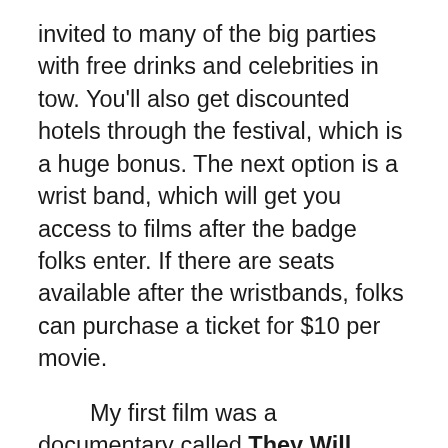invited to many of the big parties with free drinks and celebrities in tow. You'll also get discounted hotels through the festival, which is a huge bonus. The next option is a wrist band, which will get you access to films after the badge folks enter. If there are seats available after the wristbands, folks can purchase a ticket for $10 per movie.
My first film was a documentary called They Will Have to Kill Us First about musicians in Mali, Africa who were trying to bring music back to their country after Sharia Law made music illegal. While a little long-winded and in much need for some additional editing,